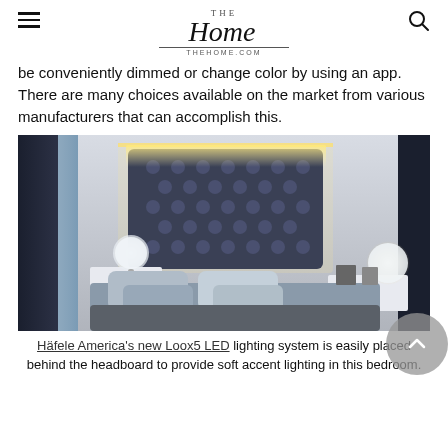THE Home THEHOME.COM
be conveniently dimmed or change color by using an app. There are many choices available on the market from various manufacturers that can accomplish this.
[Figure (photo): A modern bedroom with a dark tufted headboard illuminated by warm LED accent lighting behind it. Two round globe table lamps sit on white nightstands on either side of the bed. Soft blue and neutral tones fill the room.]
Häfele America's new Loox5 LED lighting system is easily placed behind the headboard to provide soft accent lighting in this bedroom.